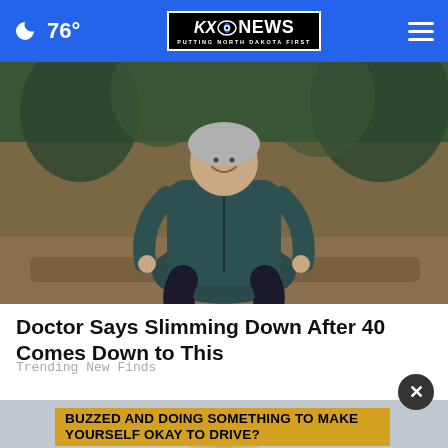76° KXO NEWS PUTTING NORTH DAKOTA FIRST
[Figure (photo): Woman with gray hair wearing a teal zip-up jacket and dark leggings, sitting outdoors on a log, smiling, with greenery in background]
Doctor Says Slimming Down After 40 Comes Down to This
Trending New Finds
BUZZED AND DOING SOMETHING TO MAKE YOURSELF OKAY TO DRIVE?